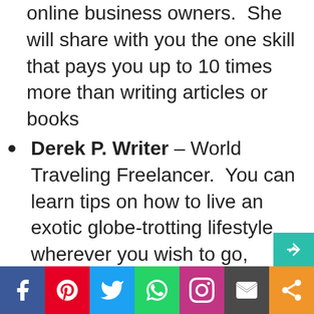online business owners.  She will share with you the one skill that pays you up to 10 times more than writing articles or books
Derek P. Writer – World Traveling Freelancer.  You can learn tips on how to live an exotic globe-trotting lifestyle wherever you wish to go, supported by your writing
Garnet Miller – Freelance Writer. In her training video